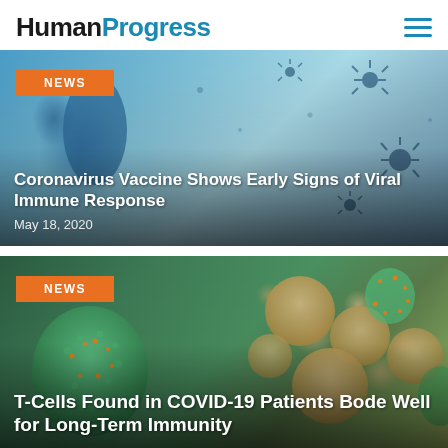HumanProgress
[Figure (illustration): Blue coronavirus vaccine bottle with virus particles floating in blue-tinted background, with orange NEWS badge overlay and article title]
Coronavirus Vaccine Shows Early Signs of Viral Immune Response
May 18, 2020
[Figure (illustration): 3D rendered immune cells - green T-cells and beige/tan round cells on dark green background, with orange NEWS badge overlay and article title]
T-Cells Found in COVID-19 Patients Bode Well for Long-Term Immunity